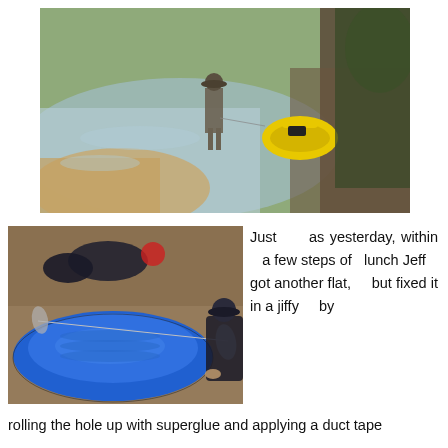[Figure (photo): Aerial/overhead view of a person wading through a shallow rocky river, pulling a yellow inflatable raft/dinghy behind them. Rocky banks and trees visible on the right side.]
[Figure (photo): Close-up view of a blue inflatable kayak/raft on sandy/rocky ground. Paddle visible resting on the boat. A person crouches on the right side. Gear scattered on ground behind the boat.]
Just as yesterday, within a few steps of lunch Jeff got another flat, but fixed it in a jiffy by rolling the hole up with superglue and applying a duct tape